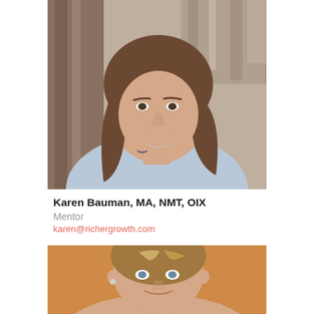[Figure (photo): Headshot of Karen Bauman, a woman with long brown hair wearing a light blue shirt, resting her chin on her hand, seated near wooden structures outdoors.]
Karen Bauman, MA, NMT, OIX
Mentor
karen@richergrowth.com
[Figure (photo): Partial headshot of a woman with short highlighted hair and small earrings, smiling slightly, photographed indoors with a warm orange/brown background.]